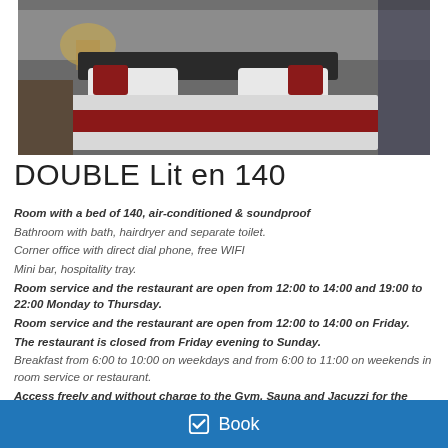[Figure (photo): Hotel double room with a bed featuring white linens and a red decorative runner, lamp on bedside table, dark curtains in background]
DOUBLE Lit en 140
Room with a bed of 140, air-conditioned & soundproof
Bathroom with bath, hairdryer and separate toilet.
Corner office with direct dial phone, free WIFI
Mini bar, hospitality tray.
Room service and the restaurant are open from 12:00 to 14:00 and 19:00 to 22:00 Monday to Thursday.
Room service and the restaurant are open from 12:00 to 14:00 on Friday.
The restaurant is closed from Friday evening to Sunday.
Breakfast from 6:00 to 10:00 on weekdays and from 6:00 to 11:00 on weekends in room service or restaurant.
Access freely and without charge to the Gym, Sauna and Jacuzzi for the duration of your stay.
Book